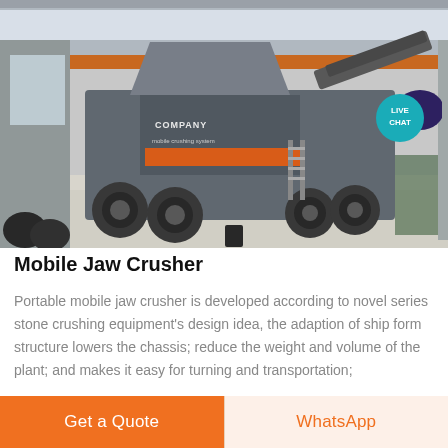[Figure (photo): Mobile jaw crusher machine photographed inside a large industrial warehouse with grey concrete floor and orange overhead crane. The crusher is a large grey wheeled mobile unit with conveyor belt.]
Mobile Jaw Crusher
Portable mobile jaw crusher is developed according to novel series stone crushing equipment's design idea, the adaption of ship form structure lowers the chassis; reduce the weight and volume of the plant; and makes it easy for turning and transportation;